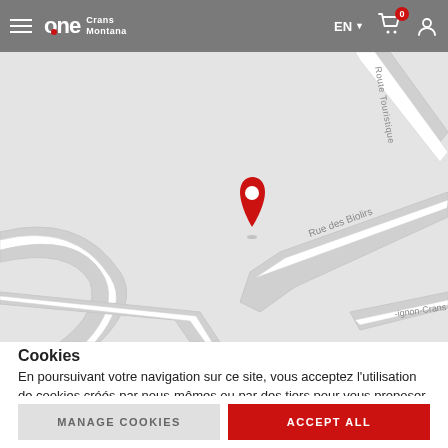one Crans Montana — EN, cart 0, user icon
[Figure (map): Street map showing location pin (red) near Rue des Biolirs and Route Touristique in Crans-Montana area. Roads visible include Rue des Biolirs, Route Touristique, and -ignon-Crans (partial). Map background is light grey with white road lines.]
Cookies
En poursuivant votre navigation sur ce site, vous acceptez l'utilisation de cookies créés par nous-mêmes ou par des tiers pour vous proposer du contenu personnalisé.
MANAGE COOKIES
ACCEPT ALL